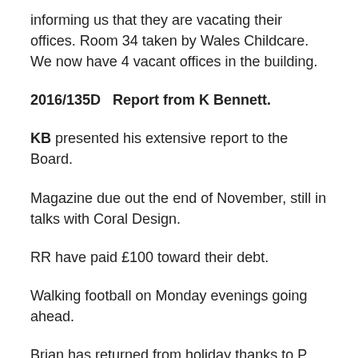informing us that they are vacating their offices. Room 34 taken by Wales Childcare. We now have 4 vacant offices in the building.
2016/135D   Report from K Bennett.
KB presented his extensive report to the Board.
Magazine due out the end of November, still in talks with Coral Design.
RR have paid £100 toward their debt.
Walking football on Monday evenings going ahead.
Brian has returned from holiday thanks to P Hryschko for stepping in.
Training continuing with Spanish, IT and Window courses.
Quote for Icloud backup £18 pm, recommended we use this.